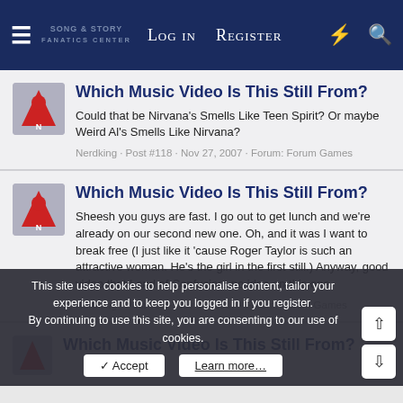Log in   Register
Which Music Video Is This Still From?
Could that be Nirvana's Smells Like Teen Spirit? Or maybe Weird Al's Smells Like Nirvana?
Nerdking · Post #118 · Nov 27, 2007 · Forum: Forum Games
Which Music Video Is This Still From?
Sheesh you guys are fast. I go out to get lunch and we're already on our second new one. Oh, and it was I want to break free (I just like it 'cause Roger Taylor is such an attractive woman. He's the girl in the first still.) Anyway, good video that Land of Confusion, no idea on this one.
Nerdking · Post #53 · Nov 15, 2007 · Forum: Forum Games
Which Music Video Is This Still From?
This site uses cookies to help personalise content, tailor your experience and to keep you logged in if you register.
By continuing to use this site, you are consenting to our use of cookies.